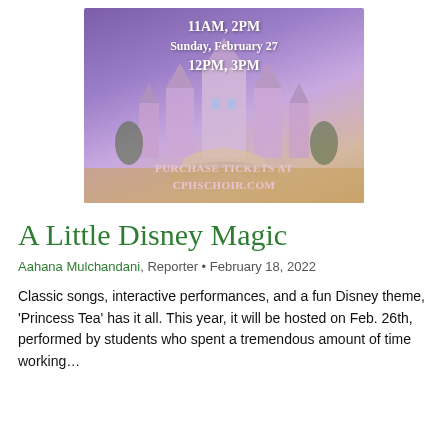[Figure (illustration): Promotional poster for a Disney-themed choir concert showing a purple fantasy castle with text: '11AM, 2PM / Saturday, February 26 / 11AM, 2PM / Sunday, February 27 / 12PM, 3PM' and 'PURCHASE TICKETS AT CPHSCHOIR.COM']
A Little Disney Magic
Aahana Mulchandani, Reporter • February 18, 2022
Classic songs, interactive performances, and a fun Disney theme, 'Princess Tea' has it all. This year, it will be hosted on Feb. 26th, performed by students who spent a tremendous amount of time working…